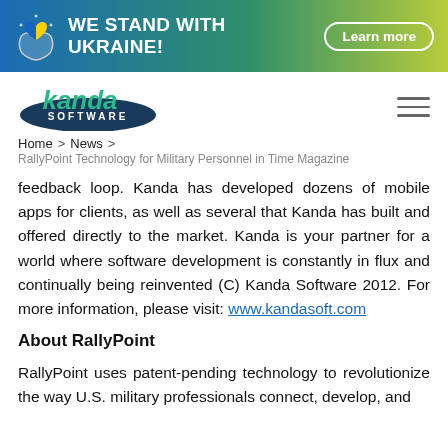WE STAND WITH UKRAINE! Learn more
[Figure (logo): Kanda Software logo with teal and dark blue ellipse]
Home > News > RallyPoint Technology for Military Personnel in Time Magazine
feedback loop. Kanda has developed dozens of mobile apps for clients, as well as several that Kanda has built and offered directly to the market. Kanda is your partner for a world where software development is constantly in flux and continually being reinvented (C) Kanda Software 2012. For more information, please visit: www.kandasoft.com
About RallyPoint
RallyPoint uses patent-pending technology to revolutionize the way U.S. military professionals connect, develop, and